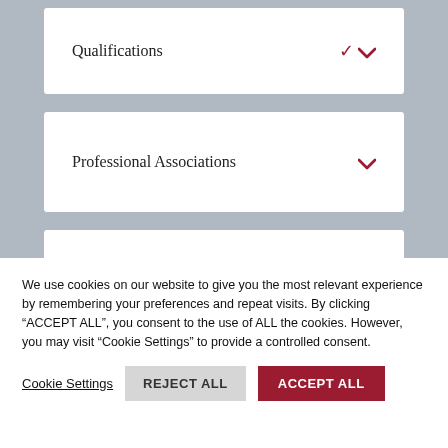Qualifications
Professional Associations
Legal Services
We use cookies on our website to give you the most relevant experience by remembering your preferences and repeat visits. By clicking “ACCEPT ALL”, you consent to the use of ALL the cookies. However, you may visit “Cookie Settings” to provide a controlled consent.
Cookie Settings | REJECT ALL | ACCEPT ALL